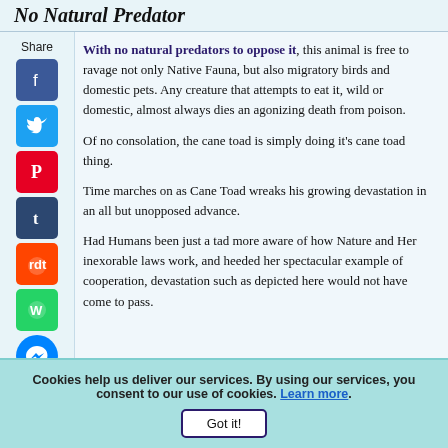No Natural Predator
With no natural predators to oppose it, this animal is free to ravage not only Native Fauna, but also migratory birds and domestic pets. Any creature that attempts to eat it, wild or domestic, almost always dies an agonizing death from poison.
Of no consolation, the cane toad is simply doing it's cane toad thing.
Time marches on as Cane Toad wreaks his growing devastation in an all but unopposed advance.
Had Humans been just a tad more aware of how Nature and Her inexorable laws work, and heeded her spectacular example of cooperation, devastation such as depicted here would not have come to pass.
Personal Development Rocks!
Cookies help us deliver our services. By using our services, you consent to our use of cookies. Learn more. Got it!